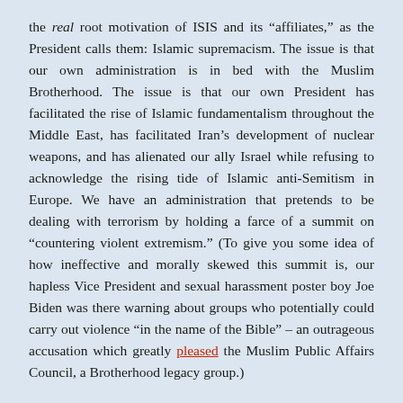the real root motivation of ISIS and its “affiliates,” as the President calls them: Islamic supremacism. The issue is that our own administration is in bed with the Muslim Brotherhood. The issue is that our own President has facilitated the rise of Islamic fundamentalism throughout the Middle East, has facilitated Iran’s development of nuclear weapons, and has alienated our ally Israel while refusing to acknowledge the rising tide of Islamic anti-Semitism in Europe. We have an administration that pretends to be dealing with terrorism by holding a farce of a summit on “countering violent extremism.” (To give you some idea of how ineffective and morally skewed this summit is, our hapless Vice President and sexual harassment poster boy Joe Biden was there warning about groups who potentially could carry out violence “in the name of the Bible” – an outrageous accusation which greatly pleased the Muslim Public Affairs Council, a Brotherhood legacy group.)
Harf continued: “If we can help countries work at the root causes of this – what makes these 17-year-old kids pick up an AK-47